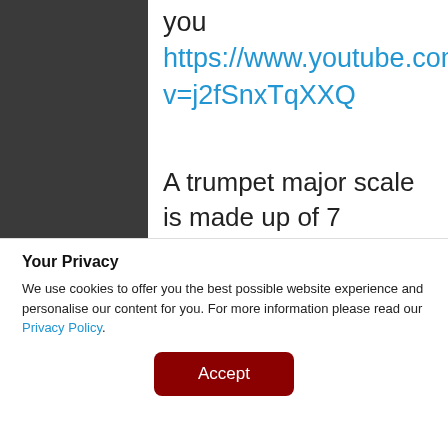you https://www.youtube.com/watch?v=j2fSnxTqXXQ
A trumpet major scale is made up of 7 notes, the eighth duplicates the first at double its frequency. For example, In music theory, B-flat major is a major scale based on B♭, with pitches B♭, C, D,
Your Privacy
We use cookies to offer you the best possible website experience and personalise our content for you. For more information please read our Privacy Policy.
Accept